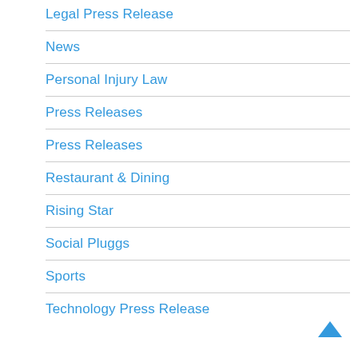Legal Press Release
News
Personal Injury Law
Press Releases
Press Releases
Restaurant & Dining
Rising Star
Social Pluggs
Sports
Technology Press Release